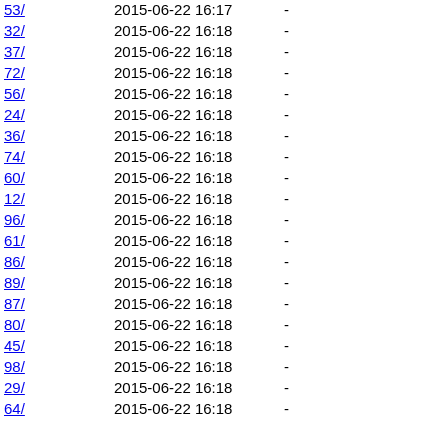| Name | Date | Size |
| --- | --- | --- |
| 53/ | 2015-06-22 16:17 | - |
| 32/ | 2015-06-22 16:18 | - |
| 37/ | 2015-06-22 16:18 | - |
| 72/ | 2015-06-22 16:18 | - |
| 56/ | 2015-06-22 16:18 | - |
| 24/ | 2015-06-22 16:18 | - |
| 36/ | 2015-06-22 16:18 | - |
| 74/ | 2015-06-22 16:18 | - |
| 60/ | 2015-06-22 16:18 | - |
| 12/ | 2015-06-22 16:18 | - |
| 96/ | 2015-06-22 16:18 | - |
| 61/ | 2015-06-22 16:18 | - |
| 86/ | 2015-06-22 16:18 | - |
| 89/ | 2015-06-22 16:18 | - |
| 87/ | 2015-06-22 16:18 | - |
| 80/ | 2015-06-22 16:18 | - |
| 45/ | 2015-06-22 16:18 | - |
| 98/ | 2015-06-22 16:18 | - |
| 29/ | 2015-06-22 16:18 | - |
| 64/ | 2015-06-22 16:18 | - |